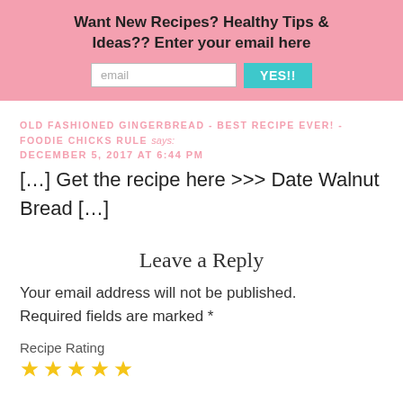[Figure (other): Pink banner with newsletter signup prompt and email input with YES!! button]
OLD FASHIONED GINGERBREAD - BEST RECIPE EVER! - FOODIE CHICKS RULE says:
DECEMBER 5, 2017 AT 6:44 PM
[…] Get the recipe here >>> Date Walnut Bread […]
Leave a Reply
Your email address will not be published. Required fields are marked *
Recipe Rating
[Figure (other): Five yellow star rating icons]